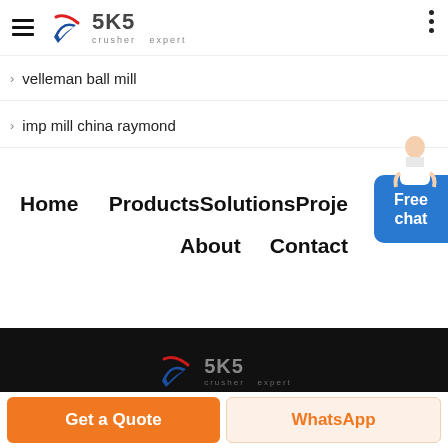SKS crusher expert
velleman ball mill
imp mill china raymond
Home   Products   Solutions   Projects
About   Contact
[Figure (logo): SKS crusher expert logo in footer, white on black background]
sitemap Shanghai SKS Company © 2000-2021 Copyrights.
Get a Quote   WhatsApp